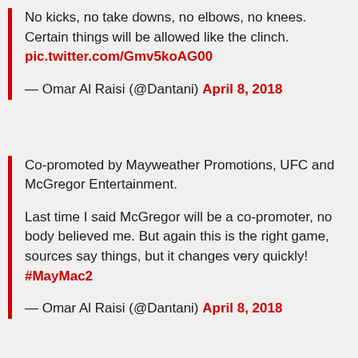No kicks, no take downs, no elbows, no knees. Certain things will be allowed like the clinch. pic.twitter.com/Gmv5koAG00

— Omar Al Raisi (@Dantani) April 8, 2018
Co-promoted by Mayweather Promotions, UFC and McGregor Entertainment.

Last time I said McGregor will be a co-promoter, no body believed me. But again this is the right game, sources say things, but it changes very quickly! #MayMac2

— Omar Al Raisi (@Dantani) April 8, 2018